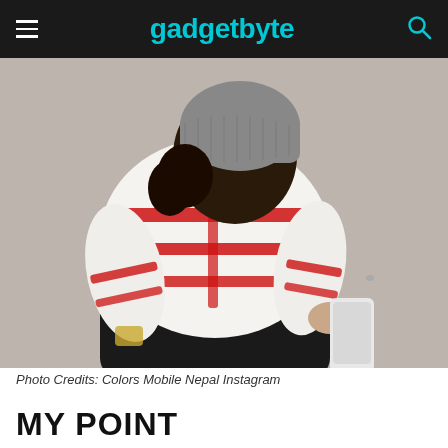gadgetbyte
[Figure (photo): A person sitting on the ground wearing a white and red striped sweater, viewed from behind, holding a white smartphone in their right hand. A grey knit hat is visible on their head. They are wearing black pants. The background is a grey concrete surface.]
Photo Credits: Colors Mobile Nepal Instagram
MY POINT